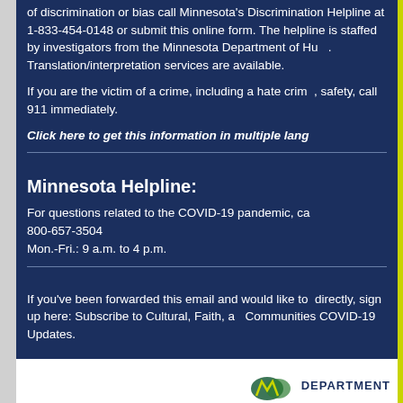If you have experienced or witnessed an incident of discrimination or bias call Minnesota's Discrimination Helpline at 1-833-454-0148 or submit this online form. The helpline is staffed by investigators from the Minnesota Department of Human Rights. Translation/interpretation services are available.
If you are the victim of a crime, including a hate crime, and fear for your safety, call 911 immediately.
Click here to get this information in multiple languages.
Minnesota Helpline:
For questions related to the COVID-19 pandemic, call the Minnesota COVID-19 Hotline: 800-657-3504
Mon.-Fri.: 9 a.m. to 4 p.m.
If you've been forwarded this email and would like to receive these updates directly, sign up here: Subscribe to Cultural, Faith, and New American Communities COVID-19 Updates.
[Figure (logo): Minnesota Department logo with stylized M shape and DEPARTMENT text]